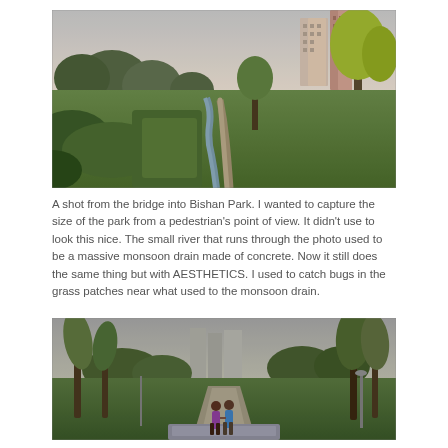[Figure (photo): A wide-angle shot from a bridge looking into Bishan Park. Green grass fields and vegetation in the foreground with a small winding river/canal running through the center. Tall residential apartment buildings visible in the upper right. Trees line the park under an overcast sky.]
A shot from the bridge into Bishan Park. I wanted to capture the size of the park from a pedestrian's point of view. It didn't use to look this nice. The small river that runs through the photo used to be a massive monsoon drain made of concrete. Now it still does the same thing but with AESTHETICS. I used to catch bugs in the grass patches near what used to the monsoon drain.
[Figure (photo): Two people walking hand-in-hand along a paved path through Bishan Park. Palm trees and other tropical trees line both sides. Tall residential buildings visible in the background. The scene is taken from behind the two figures, with an open grass lawn on either side.]